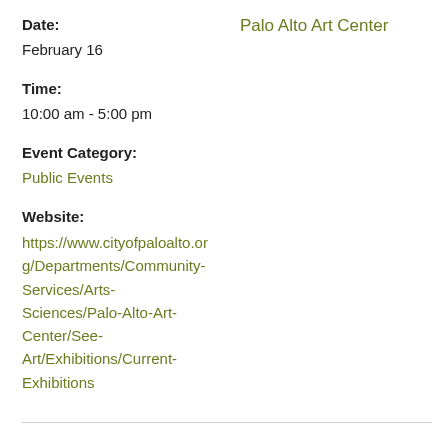Date:
Palo Alto Art Center
February 16
Time:
10:00 am - 5:00 pm
Event Category:
Public Events
Website:
https://www.cityofpaloalto.org/Departments/Community-Services/Arts-Sciences/Palo-Alto-Art-Center/See-Art/Exhibitions/Current-Exhibitions